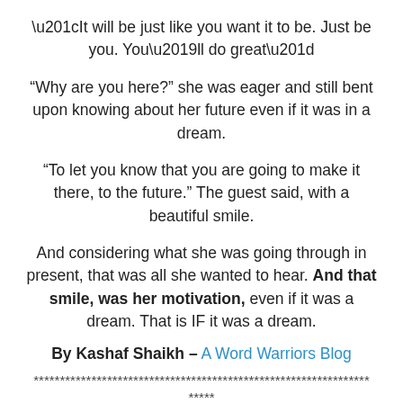“It will be just like you want it to be. Just be you. You’ll do great”
“Why are you here?” she was eager and still bent upon knowing about her future even if it was in a dream.
“To let you know that you are going to make it there, to the future.” The guest said, with a beautiful smile.
And considering what she was going through in present, that was all she wanted to hear. And that smile, was her motivation, even if it was a dream. That is IF it was a dream.
By Kashaf Shaikh – A Word Warriors Blog
****************************************************************
*****